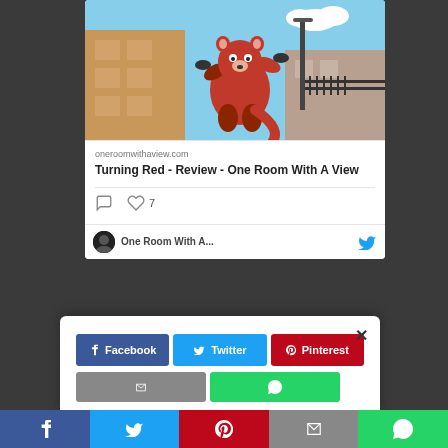[Figure (screenshot): Screenshot of a social media post sharing a movie review card. Shows a red panda character (from Pixar's Turning Red) clinging to a street lamp against a blue sky and brick building background.]
oneroomwithaview.com
Turning Red - Review - One Room With A View
[Figure (other): Comment and like icons with count of 7 likes]
[Figure (screenshot): Social share modal with Facebook, Twitter, Pinterest buttons and a close X button]
[Figure (other): Bottom toolbar with Facebook, Twitter, Pinterest, Email, and WhatsApp share buttons]